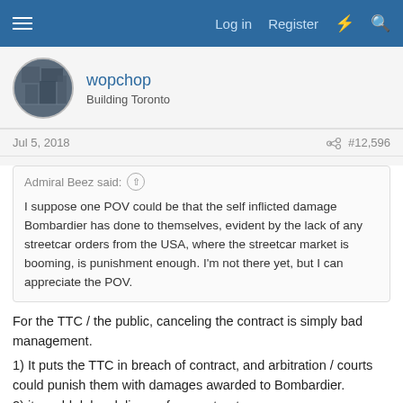wopchop — Building Toronto | Log in | Register
wopchop
Building Toronto
Jul 5, 2018 #12,596
Admiral Beez said: I suppose one POV could be that the self inflicted damage Bombardier has done to themselves, evident by the lack of any streetcar orders from the USA, where the streetcar market is booming, is punishment enough. I'm not there yet, but I can appreciate the POV.
For the TTC / the public, canceling the contract is simply bad management.
1) It puts the TTC in breach of contract, and arbitration / courts could punish them with damages awarded to Bombardier.
2) it would delay delivery of more streetcars
3) newly tendered streetcars will be at a premium price compared to the Bombardier order